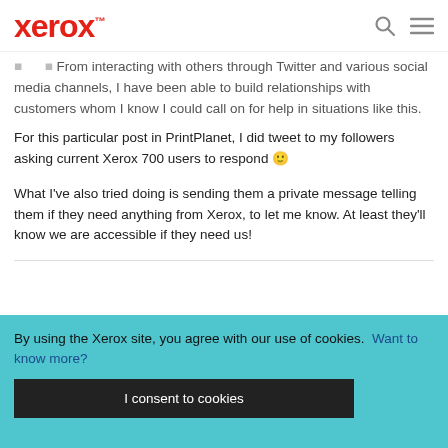Xerox™
From interacting with others through Twitter and various social media channels, I have been able to build relationships with customers whom I know I could call on for help in situations like this.
For this particular post in PrintPlanet, I did tweet to my followers asking current Xerox 700 users to respond 🙂
What I've also tried doing is sending them a private message telling them if they need anything from Xerox, to let me know. At least they'll know we are accessible if they need us!
By using the Xerox site, you agree with our use of cookies. Want to know more?
I consent to cookies